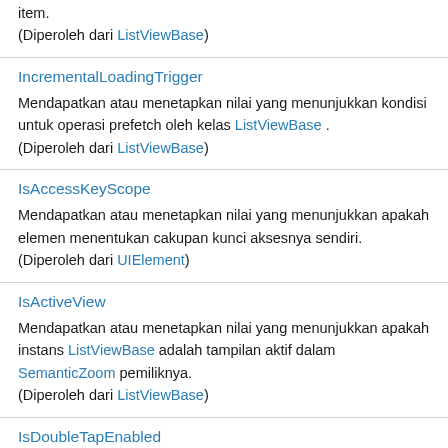item.
(Diperoleh dari ListViewBase)
IncrementalLoadingTrigger
Mendapatkan atau menetapkan nilai yang menunjukkan kondisi untuk operasi prefetch oleh kelas ListViewBase .
(Diperoleh dari ListViewBase)
IsAccessKeyScope
Mendapatkan atau menetapkan nilai yang menunjukkan apakah elemen menentukan cakupan kunci aksesnya sendiri.
(Diperoleh dari UIElement)
IsActiveView
Mendapatkan atau menetapkan nilai yang menunjukkan apakah instans ListViewBase adalah tampilan aktif dalam SemanticZoom pemiliknya.
(Diperoleh dari ListViewBase)
IsDoubleTapEnabled
Mendapatkan atau menetapkan nilai yang menentukan apakah